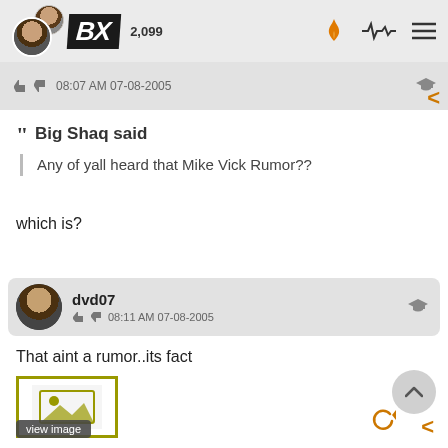BX
2,099  08:07 AM 07-08-2005
Big Shaq said
Any of yall heard that Mike Vick Rumor??
which is?
dvd07  08:11 AM 07-08-2005
That aint a rumor..its fact
[Figure (photo): Image placeholder with view image label]